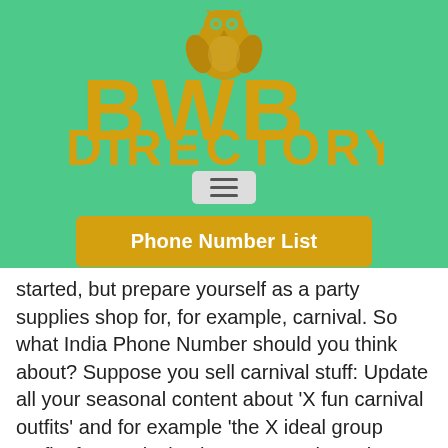[Figure (logo): BWB Directory logo with golden text on green background, featuring an owl silhouette above the letters BWB and DIRECTORY below]
[Figure (other): Hamburger menu icon with three horizontal lines on a light grey rounded rectangle background]
[Figure (other): Golden button labeled 'Phone Number List']
started, but prepare yourself as a party supplies shop for, for example, carnival. So what India Phone Number should you think about? Suppose you sell carnival stuff: Update all your seasonal content about 'X fun carnival outfits' and for example 'the X ideal group outfits for carnival'. Also promote through your other channels, so that your deals will also be shared, for example. That